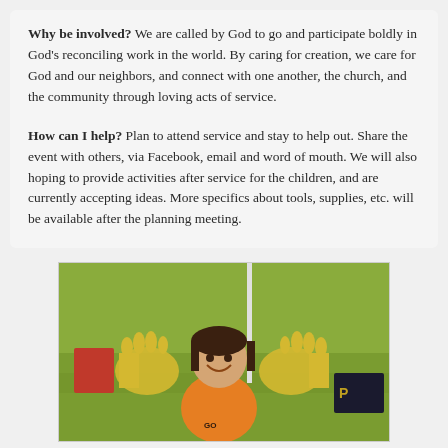Why be involved? We are called by God to go and participate boldly in God's reconciling work in the world. By caring for creation, we care for God and our neighbors, and connect with one another, the church, and the community through loving acts of service.
How can I help? Plan to attend service and stay to help out. Share the event with others, via Facebook, email and word of mouth. We will also hoping to provide activities after service for the children, and are currently accepting ideas. More specifics about tools, supplies, etc. will be available after the planning meeting.
[Figure (photo): A child outdoors on green grass, smiling and holding up large foam hands/gloves, wearing an orange shirt. Red chairs and a tent pole visible in background.]